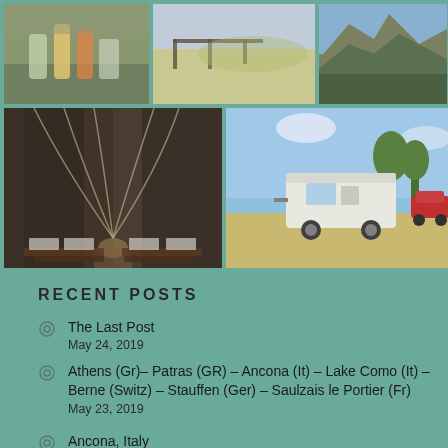[Figure (photo): Top row of three travel photos: drinks/glasses on table, coastal landscape with fence, rocky cliffside with green trees]
[Figure (photo): Bottom row of two travel photos: interior of gothic cathedral with arched ceilings and pews, caravan/trailer parked in sunny field]
RECENT POSTS
The Last Post
May 24, 2019
Athens (Gr)– Patras (GR) – Ancona (It) – Lake Como (It) – Berne (Switz) – Stauffen (Ger) – Saulzais le Portier (Fr)
May 23, 2019
Ancona, Italy